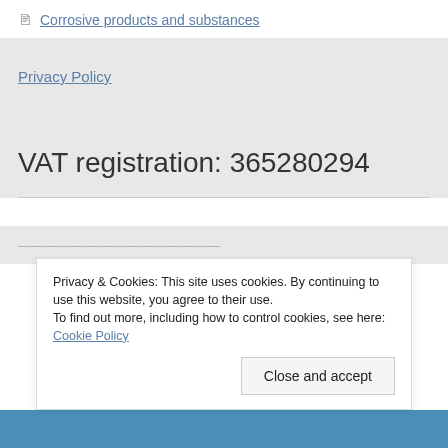Corrosive products and substances
Privacy Policy
VAT registration: 365280294
Privacy & Cookies: This site uses cookies. By continuing to use this website, you agree to their use.
To find out more, including how to control cookies, see here: Cookie Policy
Close and accept